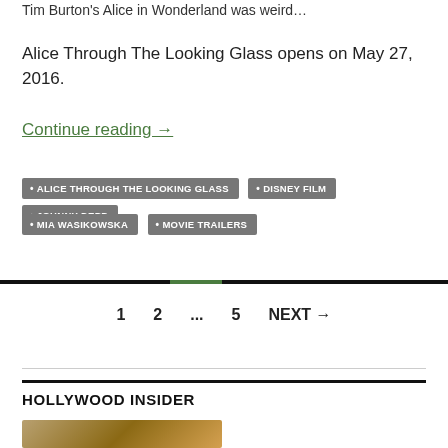Tim Burton's Alice in Wonderland was weird...
Alice Through The Looking Glass opens on May 27, 2016.
Continue reading →
• ALICE THROUGH THE LOOKING GLASS
• DISNEY FILM
• JOHNNY DEPP
• MIA WASIKOWSKA
• MOVIE TRAILERS
1  2  ...  5  NEXT →
HOLLYWOOD INSIDER